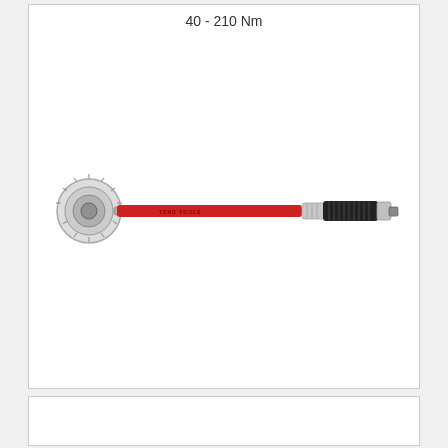40 - 210 Nm
[Figure (photo): Red torque wrench with ratchet head on the left and black rubber grip handle on the right, range 40-210 Nm]